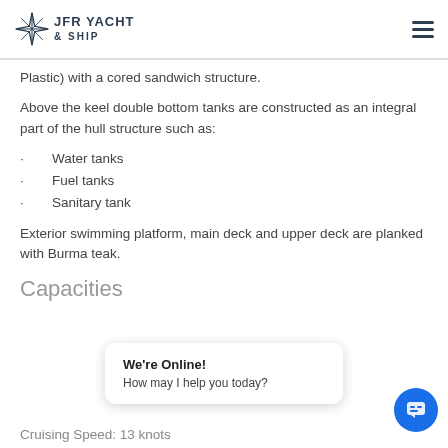JFR Yacht & Ship
Plastic) with a cored sandwich structure.
Above the keel double bottom tanks are constructed as an integral part of the hull structure such as:
Water tanks
Fuel tanks
Sanitary tank
Exterior swimming platform, main deck and upper deck are planked with Burma teak.
Capacities
Cruising Speed: 13 knots